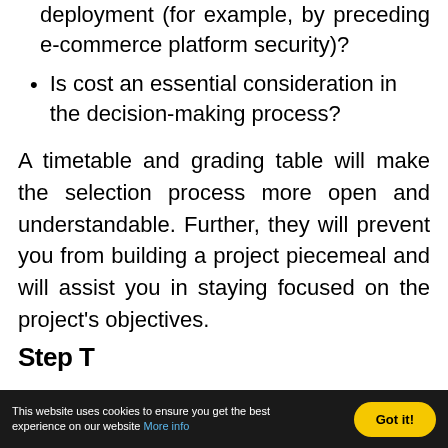deployment (for example, by preceding e-commerce platform security)?
Is cost an essential consideration in the decision-making process?
A timetable and grading table will make the selection process more open and understandable. Further, they will prevent you from building a project piecemeal and will assist you in staying focused on the project's objectives.
Step T...
This website uses cookies to ensure you get the best experience on our website More info